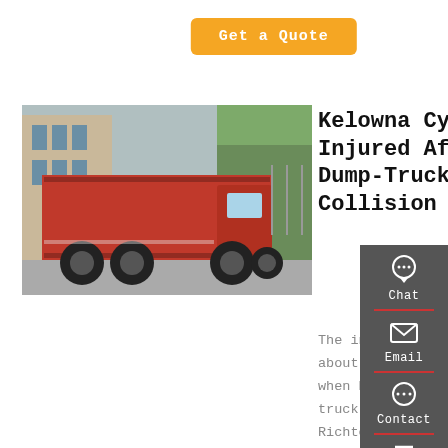Get a Quote
[Figure (photo): Red dump truck parked on a street with buildings in the background]
Kelowna Cyclist Injured After Dump-Truck Collision
The incident happened about 3 p.m. June 4, when RCMP say a dump truck turning onto Richter Street from the eastbound lane of Harvey Ave hit a cyclist who was also eastbound on